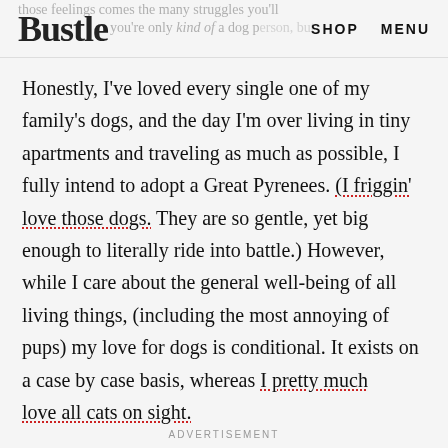Bustle | SHOP | MENU
Honestly, I've loved every single one of my family's dogs, and the day I'm over living in tiny apartments and traveling as much as possible, I fully intend to adopt a Great Pyrenees. (I friggin' love those dogs. They are so gentle, yet big enough to literally ride into battle.) However, while I care about the general well-being of all living things, (including the most annoying of pups) my love for dogs is conditional. It exists on a case by case basis, whereas I pretty much love all cats on sight.
ADVERTISEMENT